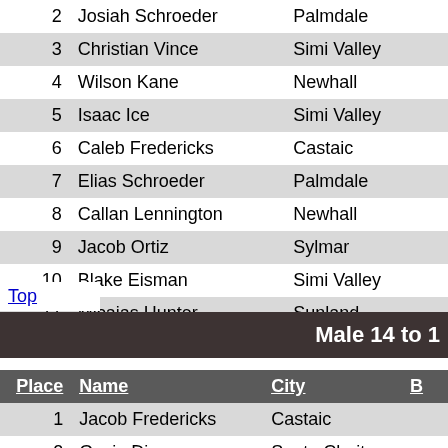| Place | Name | City |
| --- | --- | --- |
| 2 | Josiah Schroeder | Palmdale |
| 3 | Christian Vince | Simi Valley |
| 4 | Wilson Kane | Newhall |
| 5 | Isaac Ice | Simi Valley |
| 6 | Caleb Fredericks | Castaic |
| 7 | Elias Schroeder | Palmdale |
| 8 | Callan Lennington | Newhall |
| 9 | Jacob Ortiz | Sylmar |
| 10 | Blake Eisman | Simi Valley |
| 11 | Micaias Hunter | Sunland |
| 12 | Darwin Serafine |  |
Top
Male 14 to 1
| Place | Name | City | B |
| --- | --- | --- | --- |
| 1 | Jacob Fredericks | Castaic |  |
| 2 | Gavin Dion | Santa Clarita |  |
| 3 | Wesley Cunningham | Santa Clarita |  |